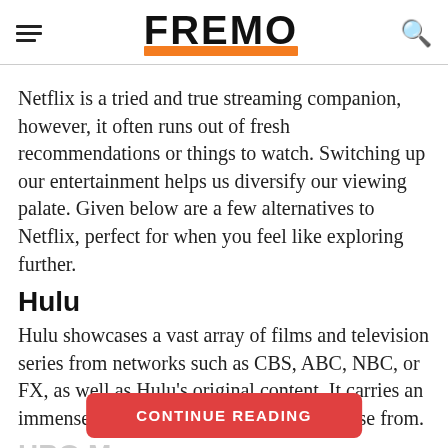FREMO
Netflix is a tried and true streaming companion, however, it often runs out of fresh recommendations or things to watch. Switching up our entertainment helps us diversify our viewing palate. Given below are a few alternatives to Netflix, perfect for when you feel like exploring further.
Hulu
Hulu showcases a vast array of films and television series from networks such as CBS, ABC, NBC, or FX, as well as Hulu's original content. It carries an immense and inexhaustible library to choose from.
HBO Ma
CONTINUE READING